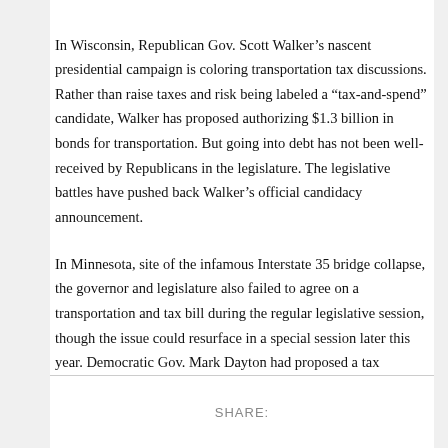In Wisconsin, Republican Gov. Scott Walker's nascent presidential campaign is coloring transportation tax discussions. Rather than raise taxes and risk being labeled a “tax-and-spend” candidate, Walker has proposed authorizing $1.3 billion in bonds for transportation. But going into debt has not been well-received by Republicans in the legislature. The legislative battles have pushed back Walker's official candidacy announcement.
In Minnesota, site of the infamous Interstate 35 bridge collapse, the governor and legislature also failed to agree on a transportation and tax bill during the regular legislative session, though the issue could resurface in a special session later this year. Democratic Gov. Mark Dayton had proposed a tax increase.
SHARE: